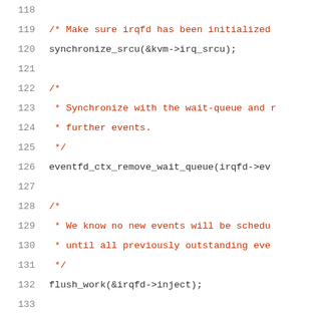Source code listing, lines 118-139, showing C kernel code for irqfd shutdown handling including synchronize_srcu, eventfd_ctx_remove_wait_queue, flush_work, and irqfd_resampler_shutdown calls.